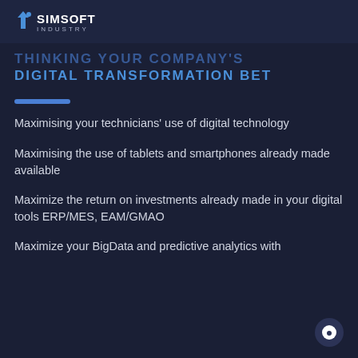SIMSOFT INDUSTRY
THINKING YOUR COMPANY'S DIGITAL TRANSFORMATION BET
Maximising your technicians' use of digital technology
Maximising the use of tablets and smartphones already made available
Maximize the return on investments already made in your digital tools ERP/MES, EAM/GMAO
Maximize your BigData and predictive analytics with